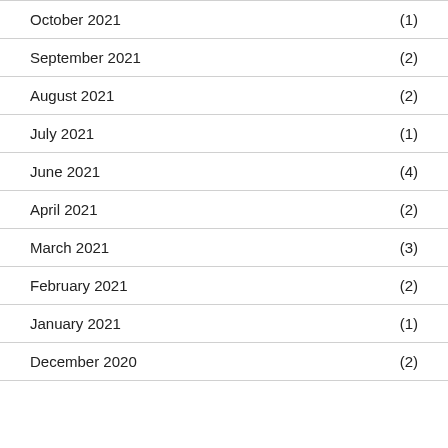October 2021 (1)
September 2021 (2)
August 2021 (2)
July 2021 (1)
June 2021 (4)
April 2021 (2)
March 2021 (3)
February 2021 (2)
January 2021 (1)
December 2020 (2)